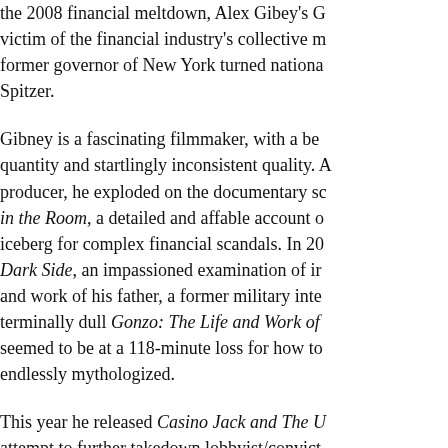the 2008 financial meltdown, Alex Gibey's [C] victim of the financial industry's collective m former governor of New York turned nationa Spitzer.
Gibney is a fascinating filmmaker, with a be quantity and startlingly inconsistent quality. A producer, he exploded on the documentary s in the Room, a detailed and affable account o iceberg for complex financial scandals. In 20 Dark Side, an impassioned examination of ir and work of his father, a former military inte terminally dull Gonzo: The Life and Work of seemed to be at a 118-minute loss for how to endlessly mythologized.
This year he released Casino Jack and The U attempt to further takedown lobbyist/convict contributed one of those most artful and thou documentary Freakonomics in which he took economist's study of cheating in Sumo wres snapshot of integrity ceding to avarice. He's Wright's one-man play "My Trip to Al-Qaed